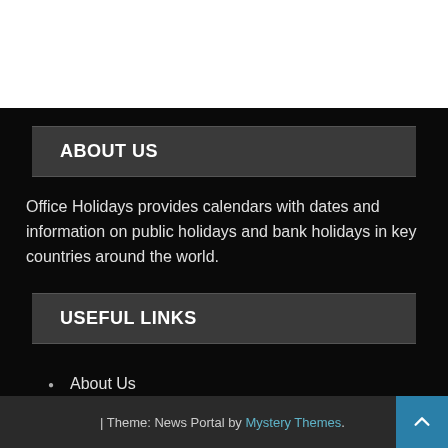ABOUT US
Office Holidays provides calendars with dates and information on public holidays and bank holidays in key countries around the world.
USEFUL LINKS
About Us
Privacy Policy
Social Media
| Theme: News Portal by Mystery Themes.